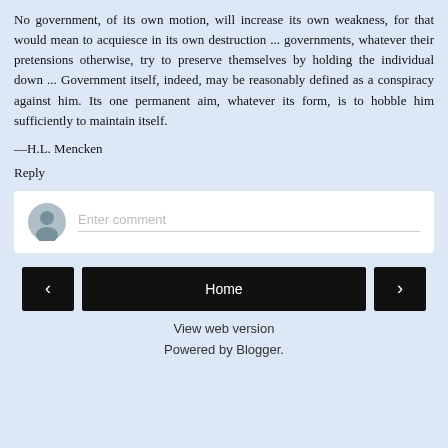No government, of its own motion, will increase its own weakness, for that would mean to acquiesce in its own destruction ... governments, whatever their pretensions otherwise, try to preserve themselves by holding the individual down ... Government itself, indeed, may be reasonably defined as a conspiracy against him. Its one permanent aim, whatever its form, is to hobble him sufficiently to maintain itself.
—H.L. Mencken
Reply
[Figure (screenshot): Comment input box with a grey user avatar icon on the left and placeholder text 'Enter comment' on the right with an underline input field]
[Figure (screenshot): Navigation bar with left arrow button, Home button in the center, and right arrow button]
View web version
Powered by Blogger.